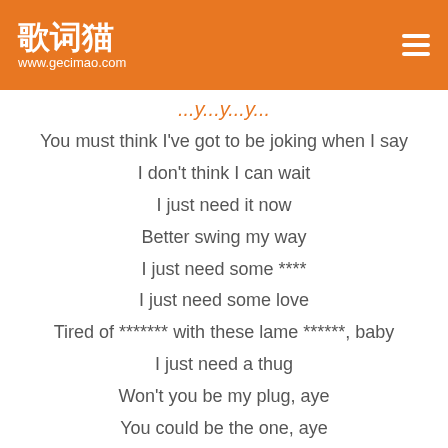歌词猫
www.gecimao.com
...y...y...y...
You must think I've got to be joking when I say
I don't think I can wait
I just need it now
Better swing my way
I just need some ****
I just need some love
Tired of ******* with these lame ******, baby
I just need a thug
Won't you be my plug, aye
You could be the one, aye
We could start with a handshake, baby
I'ma need more than a hug